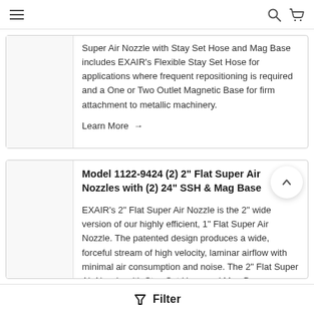Navigation bar with hamburger menu, search icon, and cart icon
Super Air Nozzle with Stay Set Hose and Mag Base includes EXAIR's Flexible Stay Set Hose for applications where frequent repositioning is required and a One or Two Outlet Magnetic Base for firm attachment to metallic machinery.
Learn More →
Model 1122-9424 (2) 2" Flat Super Air Nozzles with (2) 24" SSH & Mag Base
EXAIR's 2" Flat Super Air Nozzle is the 2" wide version of our highly efficient, 1" Flat Super Air Nozzle. The patented design produces a wide, forceful stream of high velocity, laminar airflow with minimal air consumption and noise. The 2" Flat Super Air Nozzle with Stay Set Hose and Mag Base includes EXAIR's Flexible Stay Set Hose for
Filter